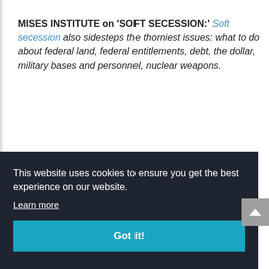MISES INSTITUTE on 'SOFT SECESSION:' Soft secession also sidesteps the thorniest issues: what to do about federal land, federal entitlements, debt, the dollar, military bases and personnel, nuclear weapons.
This website uses cookies to ensure you get the best experience on our website.
Learn more
Got it!